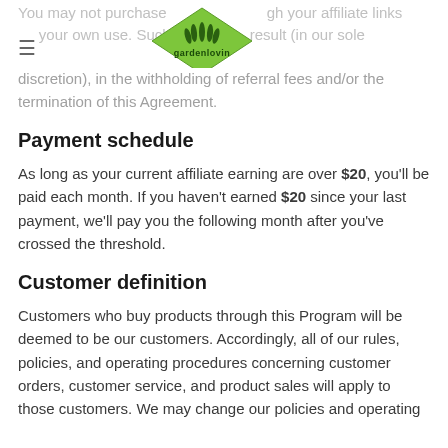You may not purchase through your affiliate links for your own use. Such result (in our sole discretion), in the withholding of referral fees and/or the termination of this Agreement.
[Figure (logo): Gardenlovin green diamond-shaped logo with grass/lawn icon and 'gardenlovin' text]
discretion), in the withholding of referral fees and/or the termination of this Agreement.
Payment schedule
As long as your current affiliate earning are over $20, you'll be paid each month. If you haven't earned $20 since your last payment, we'll pay you the following month after you've crossed the threshold.
Customer definition
Customers who buy products through this Program will be deemed to be our customers. Accordingly, all of our rules, policies, and operating procedures concerning customer orders, customer service, and product sales will apply to those customers. We may change our policies and operating